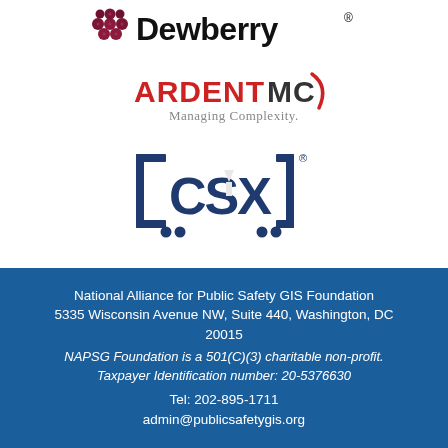[Figure (logo): Dewberry logo with dark berry/grape cluster icon on left and large bold black 'Dewberry' wordmark with registered trademark symbol]
[Figure (logo): ArdentMC logo with 'ARDENT' in red bold caps, 'MC' in dark gray bold caps, a red curved swoosh arc on the right, and 'Managing Complexity.' tagline in gray below]
[Figure (logo): CSX logo in dark navy blue with brackets and dots forming a railroad car icon around bold 'CSX' lettering with a registered trademark symbol]
National Alliance for Public Safety GIS Foundation
5335 Wisconsin Avenue NW, Suite 440, Washington, DC 20015
NAPSG Foundation is a 501(C)(3) charitable non-profit.
Taxpayer Identification number: 20-5376630
Tel: 202-895-1711
admin@publicsafetygis.org